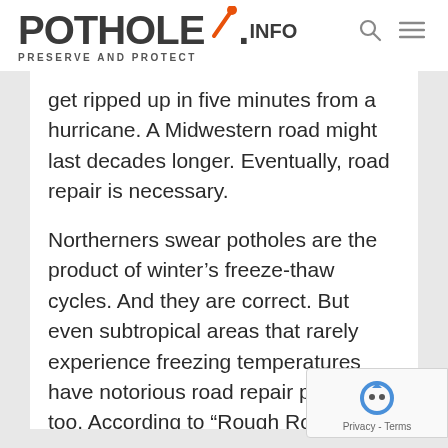POTHOLE.INFO PRESERVE AND PROTECT
get ripped up in five minutes from a hurricane. A Midwestern road might last decades longer. Eventually, road repair is necessary.
Northerners swear potholes are the product of winter's freeze-thaw cycles. And they are correct. But even subtropical areas that rarely experience freezing temperatures have notorious road repair problems too. According to “Rough Roads Ahead,” a report from the American